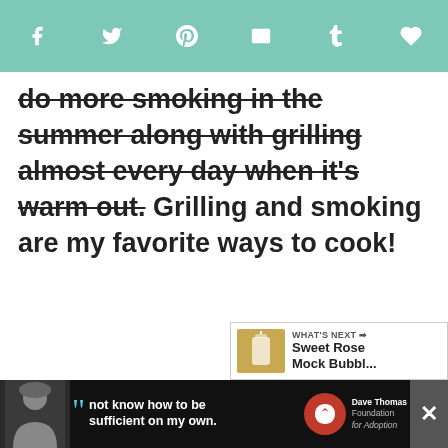Social share bar with icons: f (Facebook), Twitter bird, P (Pinterest), envelope (email), t (Tumblr), heart
do more smoking in the summer along with grilling almost every day when it's warm out. Grilling and smoking are my favorite ways to cook!
[Figure (photo): A white teapot/tea kettle with blue geometric lattice pattern on a counter, with a smaller plain white creamer/teapot in the background]
[Figure (other): Accessibility icon overlay - blue circle with white person icon, partial arrow/cursor overlay. Text 'rms' visible. Share count: 124. Share button with arrows.]
[Figure (other): What's Next panel: thumbnail of iced drink, label 'WHAT'S NEXT →', title 'Sweet Rose Mock Bubbl...']
[Figure (other): Bottom advertisement bar: person in winter hat, quote mark, text 'not know how to be sufficient on my own.', Dave Thomas Foundation for Adoption logo, close buttons]